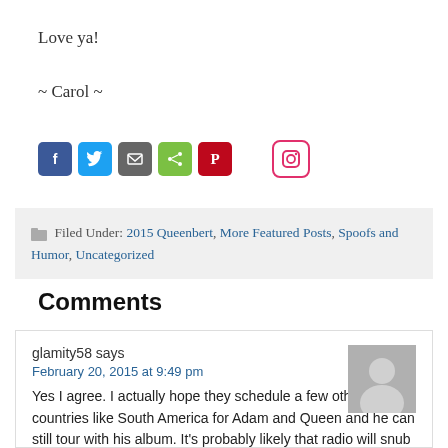Love ya!
~ Carol ~
[Figure (other): Row of social media share icons: Facebook (blue), Twitter (light blue), Email (gray), Share (green), Pinterest (red), Instagram (white/pink border)]
Filed Under: 2015 Queenbert, More Featured Posts, Spoofs and Humor, Uncategorized
Comments
glamity58 says
February 20, 2015 at 9:49 pm
Yes I agree. I actually hope they schedule a few other countries like South America for Adam and Queen and he can still tour with his album. It's probably likely that radio will snub Adam so I'm not sure how much of a tour he can afford. My other fantasy is when Queen and Adam don't do Queen anymore, Brian and Roger...